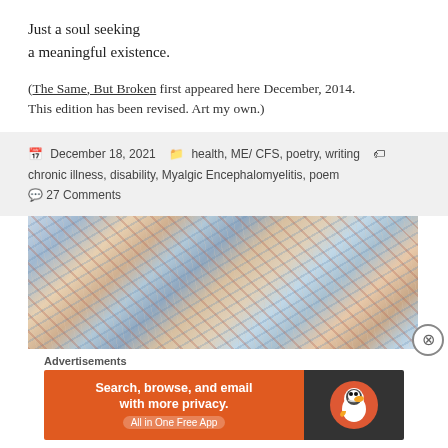Just a soul seeking
a meaningful existence.
(The Same, But Broken first appeared here December, 2014. This edition has been revised. Art my own.)
December 18, 2021   health, ME/ CFS, poetry, writing   chronic illness, disability, Myalgic Encephalomyelitis, poem
27 Comments
[Figure (photo): Expressionistic painting with swirling brushstrokes in blue, red, white and brown tones, depicting an abstract figure or landscape]
Advertisements
[Figure (other): DuckDuckGo advertisement banner: 'Search, browse, and email with more privacy. All in One Free App' on orange background with DuckDuckGo logo on dark right panel]